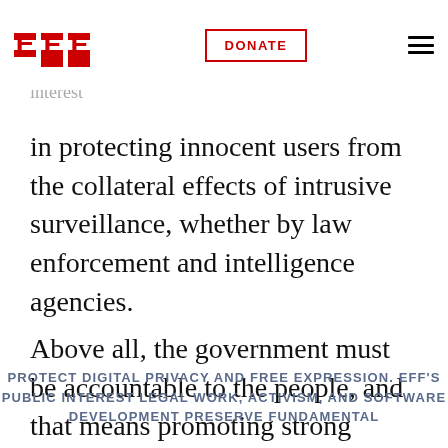EFF | DONATE | (menu)
the courts—must carefully consider the costs to investigate. The public needs and tools to access secure digital tools. And as a society, we have an interest in protecting innocent users from the collateral effects of intrusive surveillance, whether by law enforcement and intelligence agencies.
Above all, the government must be accountable to the people, and that means promoting strong crypto and security.
PROTECT DIGITAL PRIVACY AND FREE EXPRESSION. EFF'S PUBLIC INTEREST LEGAL WORK, ACTIVISM, AND SOFTWARE DEVELOPMENT PRESERVE FUNDAMENTAL